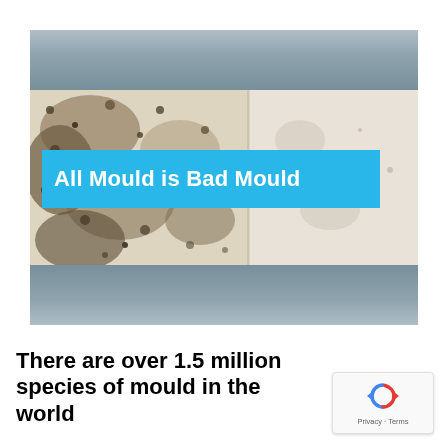[Figure (photo): Photo of mould growing on a wall surface, with a blue overlay banner reading 'All Mould is Bad Mould'. The image has grey/blue bars at the top and bottom.]
There are over 1.5 million species of mould in the world